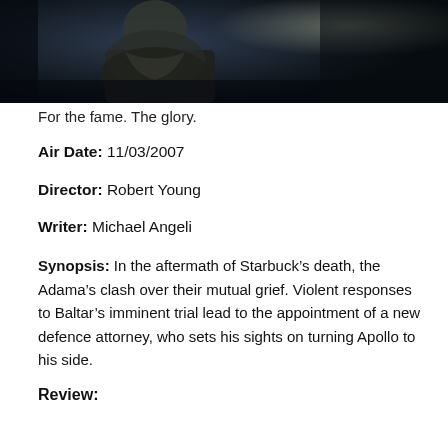[Figure (photo): Dark moody photo of a person (upper body) in dim lighting, dark clothing, against a dark background with a blurred light area on the right side.]
For the fame. The glory.
Air Date: 11/03/2007
Director: Robert Young
Writer: Michael Angeli
Synopsis: In the aftermath of Starbuck’s death, the Adama’s clash over their mutual grief. Violent responses to Baltar’s imminent trial lead to the appointment of a new defence attorney, who sets his sights on turning Apollo to his side.
Review: